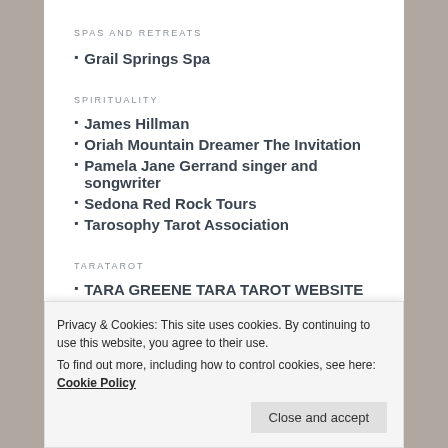SPAS AND RETREATS
Grail Springs Spa
SPIRITUALITY
James Hillman
Oriah Mountain Dreamer The Invitation
Pamela Jane Gerrand singer and songwriter
Sedona Red Rock Tours
Tarosophy Tarot Association
TARATAROT
TARA GREENE TARA TAROT WEBSITE
Privacy & Cookies: This site uses cookies. By continuing to use this website, you agree to their use.
To find out more, including how to control cookies, see here: Cookie Policy
Close and accept